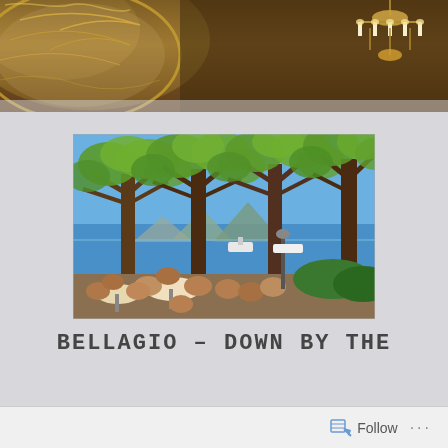[Figure (photo): Top banner showing ornate interior ceiling with gold decorations and a chandelier on the right side]
[Figure (photo): Outdoor lakeside cafe in Bellagio with tables, chairs and trees with pruned canopies, lake and mountains visible in background]
BELLAGIO – DOWN BY THE
Follow ...